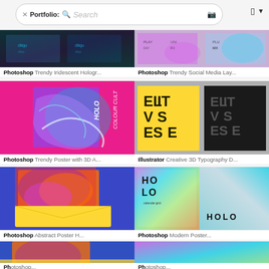[Figure (screenshot): Search bar with Portfolio label, search icon, placeholder text 'Search', camera icon, and toolbar icons on the right]
[Figure (screenshot): Top-left partial: dark holographic iridescent Photoshop design thumbnails]
Photoshop Trendy Iridescent Hologr...
[Figure (screenshot): Top-right partial: colorful holographic social media layout Photoshop design thumbnails]
Photoshop Trendy Social Media Lay...
[Figure (photo): Pink background with holographic 3D abstract poster reading HOLOCOLOUR CULT]
Photoshop Trendy Poster with 3D A...
[Figure (photo): Two poster designs on grey background with yellow and black backgrounds, showing 3D typography ELVISTESE]
Illustrator Creative 3D Typography D...
[Figure (photo): Colorful abstract iridescent postcard on blue background with yellow envelope]
Photoshop Abstract Poster H...
[Figure (photo): Holographic iridescent calendar and poster designs with HOLO text]
Photoshop Modern Poster...